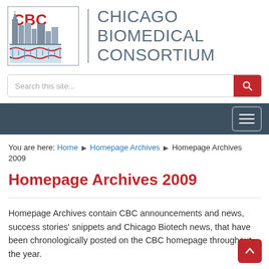[Figure (logo): Chicago Biomedical Consortium (CBC) logo with city skyline silhouette and DNA helix graphic, red CBC text, vertical divider, and full organization name in grey]
Search this site...
You are here: Home ▶ Homepage Archives ▶ Homepage Archives 2009
Homepage Archives 2009
Homepage Archives contain CBC announcements and news, success stories' snippets and Chicago Biotech news, that have been chronologically posted on the CBC homepage throughout the year.